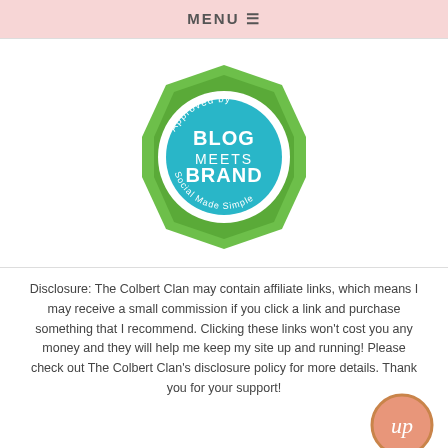MENU ☰
[Figure (logo): Approved by Blog Meets Brand - Social Made Simple badge. Green octagon shape with teal circle in center containing white text 'BLOG MEETS BRAND'. Curved text around circle reads 'Approved by' and 'Social Made Simple'.]
Disclosure: The Colbert Clan may contain affiliate links, which means I may receive a small commission if you click a link and purchase something that I recommend. Clicking these links won't cost you any money and they will help me keep my site up and running! Please check out The Colbert Clan's disclosure policy for more details. Thank you for your support!
[Figure (logo): Pink circular 'Up' badge with gold border in bottom right corner]
BLOG DESIGN DESIGN BY SKYANDSTARS.CO